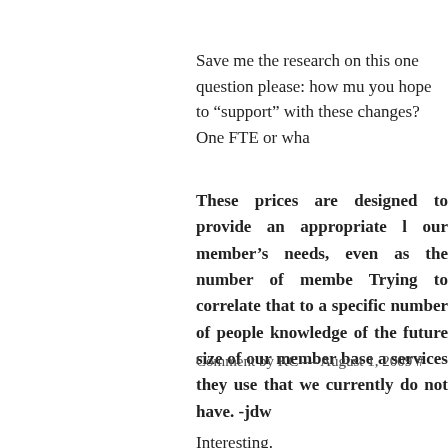Save me the research on this one question please: how mu you hope to “support” with these changes? One FTE or wha
These prices are designed to provide an appropriate l our member’s needs, even as the number of membe Trying to correlate that to a specific number of people knowledge of the future size of our member base a services they use that we currently do not have. -jdw
Comment by KC — August 1, 2009 #
Interesting.
I’ll see how long my balance lasts, work out the cost differe provider, and make an informed decision on how I want to g
It’s pretty difficult to do an apples to apple comparison on t the variables. But I know I was paying roughly $7/mo at n pricing levels puts me at right around $5-6/mo, and I